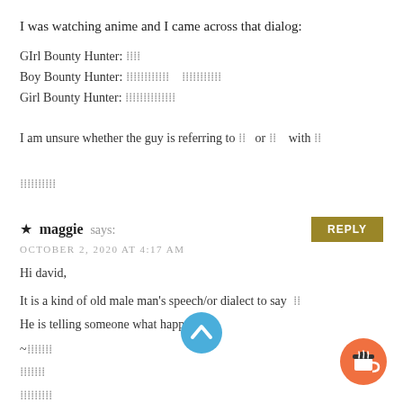I was watching anime and I came across that dialog:
GIrl Bounty Hunter: [Japanese text]
Boy Bounty Hunter: [Japanese text]   [Japanese text]
Girl Bounty Hunter: [Japanese text]
I am unsure whether the guy is referring to [JP] or [JP] with [JP]
[Japanese text]
★ maggie says:
OCTOBER 2, 2020 AT 4:17 AM
Hi david,

It is a kind of old male man's speech/or dialect to say [JP]
He is telling someone what happened.
~[Japanese]
[Japanese]
[Japanese]
→[Japanese]
[Figure (other): Blue circular scroll-up arrow button]
[Figure (other): Orange circular coffee cup button]